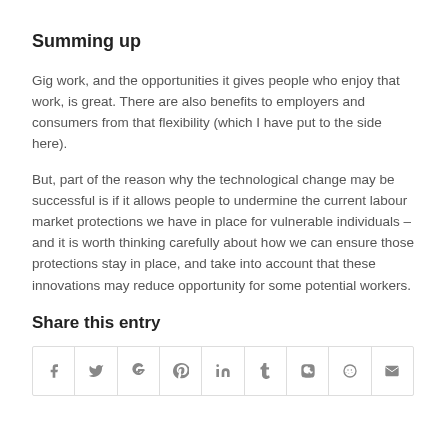Summing up
Gig work, and the opportunities it gives people who enjoy that work, is great.  There are also benefits to employers and consumers from that flexibility (which I have put to the side here).
But, part of the reason why the technological change may be successful is if it allows people to undermine the current labour market protections we have in place for vulnerable individuals – and it is worth thinking carefully about how we can ensure those protections stay in place, and take into account that these innovations may reduce opportunity for some potential workers.
Share this entry
[Figure (infographic): Social sharing icon bar with icons for Facebook, Twitter, Google+, Pinterest, LinkedIn, Tumblr, VK, Reddit, and Email]